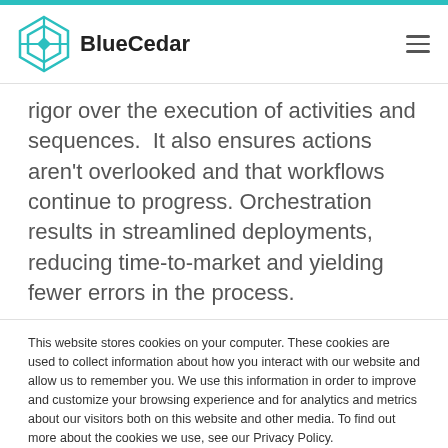BlueCedar
rigor over the execution of activities and sequences.  It also ensures actions aren't overlooked and that workflows continue to progress. Orchestration results in streamlined deployments, reducing time-to-market and yielding fewer errors in the process.
This website stores cookies on your computer. These cookies are used to collect information about how you interact with our website and allow us to remember you. We use this information in order to improve and customize your browsing experience and for analytics and metrics about our visitors both on this website and other media. To find out more about the cookies we use, see our Privacy Policy.
Accept | Don't ask me again